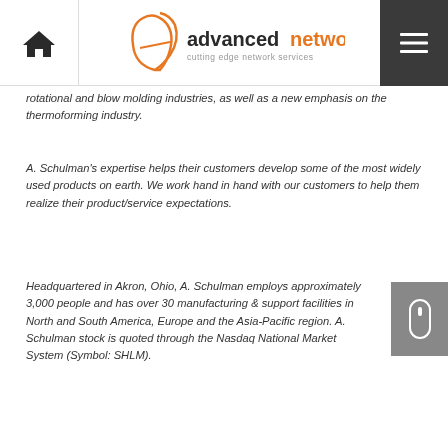advanced networks — cutting edge network services
rotational and blow molding industries, as well as a new emphasis on the thermoforming industry.
A. Schulman's expertise helps their customers develop some of the most widely used products on earth. We work hand in hand with our customers to help them realize their product/service expectations.
Headquartered in Akron, Ohio, A. Schulman employs approximately 3,000 people and has over 30 manufacturing & support facilities in North and South America, Europe and the Asia-Pacific region. A. Schulman stock is quoted through the Nasdaq National Market System (Symbol: SHLM).